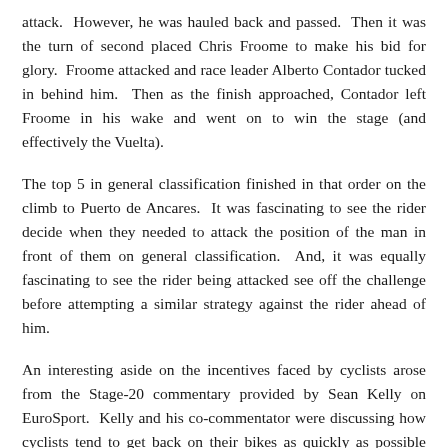attack.  However, he was hauled back and passed.  Then it was the turn of second placed Chris Froome to make his bid for glory.  Froome attacked and race leader Alberto Contador tucked in behind him.  Then as the finish approached, Contador left Froome in his wake and went on to win the stage (and effectively the Vuelta).
The top 5 in general classification finished in that order on the climb to Puerto de Ancares.  It was fascinating to see the rider decide when they needed to attack the position of the man in front of them on general classification.  And, it was equally fascinating to see the rider being attacked see off the challenge before attempting a similar strategy against the rider ahead of him.
An interesting aside on the incentives faced by cyclists arose from the Stage-20 commentary provided by Sean Kelly on EuroSport.  Kelly and his co-commentator were discussing how cyclists tend to get back on their bikes as quickly as possible after a fall.  I was surprised that Kelly compared this approach to that of footballers.  It is slightly disappointing to find people from one sport complaining about those in another sport.  I was disappointed that one of the sports people I